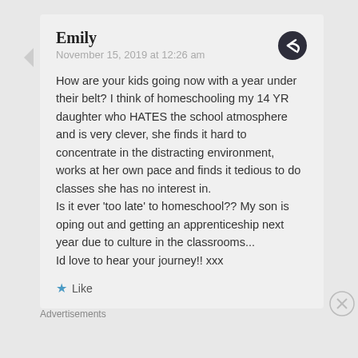Emily
November 15, 2019 at 12:26 am
How are your kids going now with a year under their belt? I think of homeschooling my 14 YR daughter who HATES the school atmosphere and is very clever, she finds it hard to concentrate in the distracting environment, works at her own pace and finds it tedious to do classes she has no interest in.
Is it ever 'too late' to homeschool?? My son is oping out and getting an apprenticeship next year due to culture in the classrooms...
Id love to hear your journey!! xxx
Like
Advertisements